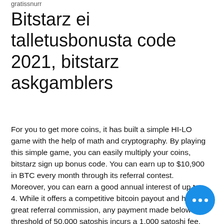gratissnurr
Bitstarz ei talletusbonusta code 2021, bitstarz askgamblers
For you to get more coins, it has built a simple HI-LO game with the help of math and cryptography. By playing this simple game, you can easily multiply your coins, bitstarz sign up bonus code. You can earn up to $10,900 in BTC every month through its referral contest. Moreover, you can earn a good annual interest of up to 4. While it offers a competitive bitcoin payout and has a great referral commission, any payment made below a threshold of 50,000 satoshis incurs a 1,000 satoshi fee, bitstarz sign up bonus code. Or if you are a beginner and don't